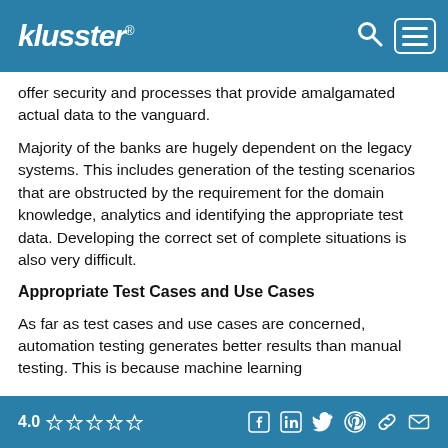klusster®
offer security and processes that provide amalgamated actual data to the vanguard.
Majority of the banks are hugely dependent on the legacy systems. This includes generation of the testing scenarios that are obstructed by the requirement for the domain knowledge, analytics and identifying the appropriate test data. Developing the correct set of complete situations is also very difficult.
Appropriate Test Cases and Use Cases
As far as test cases and use cases are concerned, automation testing generates better results than manual testing. This is because machine learning
4.0 ☆☆☆☆☆ [social icons]